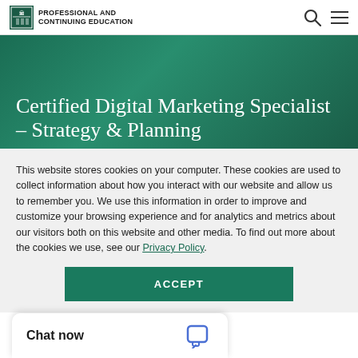PROFESSIONAL AND CONTINUING EDUCATION
Certified Digital Marketing Specialist – Strategy & Planning
This website stores cookies on your computer. These cookies are used to collect information about how you interact with our website and allow us to remember you. We use this information in order to improve and customize your browsing experience and for analytics and metrics about our visitors both on this website and other media. To find out more about the cookies we use, see our Privacy Policy.
ACCEPT
Chat now